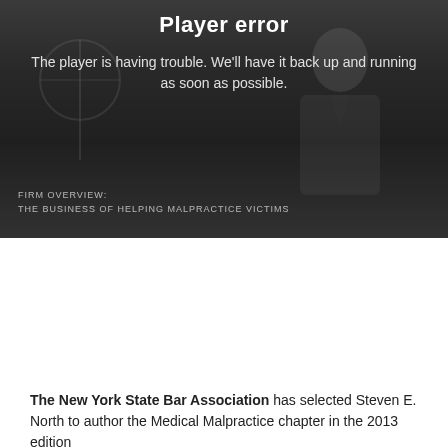[Figure (screenshot): Video player error screen with dark gray background showing a person in a suit, overlaid with 'Player error' title and message 'The player is having trouble. We'll have it back up and running as soon as possible.' Bottom overlay text reads 'FIRM OVERVIEW: THE BUSINESS OF HELPING MALPRACTICE VICTIMS']
The New York State Bar Association has selected Steven E. North to author the Medical Malpractice chapter in the 2013 edition